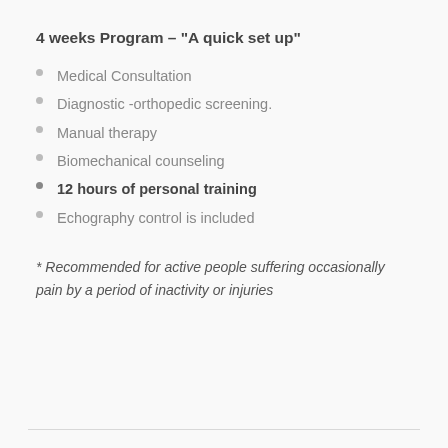4 weeks Program – "A quick set up"
Medical Consultation
Diagnostic -orthopedic screening.
Manual therapy
Biomechanical counseling
12 hours of personal training
Echography control is included
* Recommended for active people suffering occasionally pain by a period of inactivity or injuries